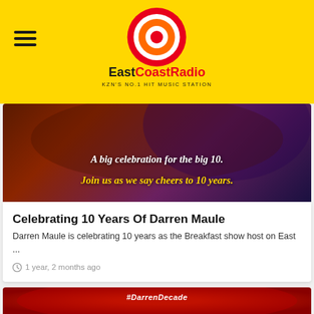EastCoastRadio — KZN'S NO.1 HIT MUSIC STATION
[Figure (photo): Promotional image with text: A big celebration for the big 10. Join us as we say cheers to 10 years.]
Celebrating 10 Years Of Darren Maule
Darren Maule is celebrating 10 years as the Breakfast show host on East ...
1 year, 2 months ago
[Figure (photo): Red background image with #DarrenDecade hashtag and person with hands raised]